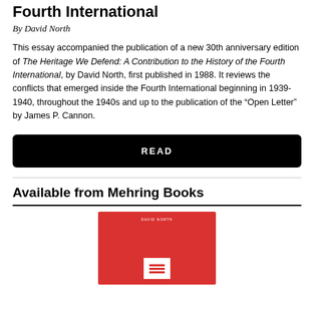Fourth International
By David North
This essay accompanied the publication of a new 30th anniversary edition of The Heritage We Defend: A Contribution to the History of the Fourth International, by David North, first published in 1988. It reviews the conflicts that emerged inside the Fourth International beginning in 1939-1940, throughout the 1940s and up to the publication of the “Open Letter” by James P. Cannon.
READ
Available from Mehring Books
[Figure (photo): Red book cover partially visible at bottom of page]